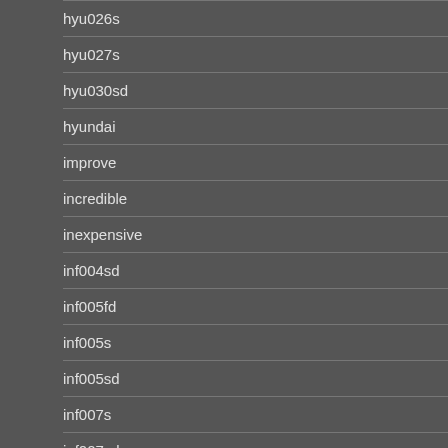hyu026s
hyu027s
hyu030sd
hyundai
improve
incredible
inexpensive
inf004sd
inf005fd
inf005s
inf005sd
inf007s
inf007sd